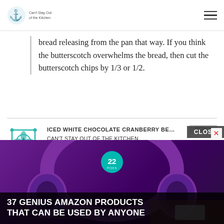Can't Stay Out of the Kitchen
bread releasing from the pan that way. If you think the butterscotch overwhelms the bread, then cut the butterscotch chips by 1/3 or 1/2.
ICED WHITE CHOCOLATE CRANBERRY BE... CAN'T STAY OUT OF THE KITCHEN — December 14, 2015 at 10:29 pm
[…] Pumpkin Butterscotch Bread […]
[Figure (screenshot): Advertisement overlay showing purple headphones, a '22' teal badge, and bold text reading '37 GENIUS AMAZON PRODUCTS THAT CAN BE USED BY ANYONE' with a close button.]